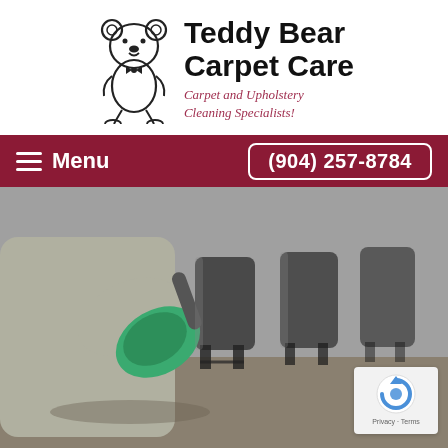[Figure (logo): Teddy Bear Carpet Care logo with a cartoon teddy bear wearing a bow tie, company name in bold black text, and tagline 'Carpet and Upholstery Cleaning Specialists!' in dark red italic text]
Menu | (904) 257-8784
[Figure (photo): A person in a gray uniform using a green upholstery cleaning tool on black office chairs in a row on a gray floor]